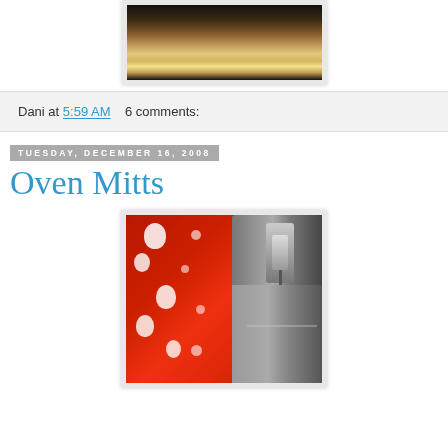[Figure (photo): Close-up photo of wooden object with light shining through, partial view at top of page]
Dani at 5:59 AM    6 comments:
Tuesday, December 16, 2008
Oven Mitts
[Figure (photo): Close-up photo of red snowman-print fabric being sewn with a sewing machine]